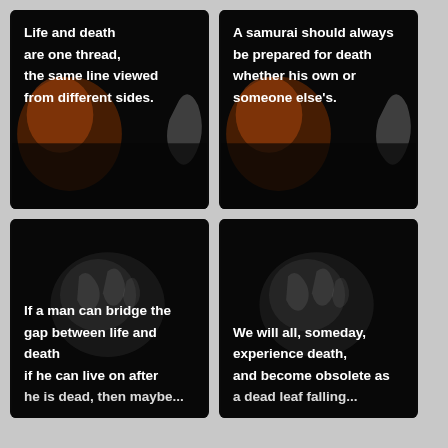[Figure (illustration): Dark background with faint samurai/warrior figure, orange glow on left side, white mask shape on right. Quote text overlay: 'Life and death are one thread, the same line viewed from different sides.']
[Figure (illustration): Dark background with faint samurai/warrior figure, orange glow on left side, white mask shape on right. Quote text overlay: 'A samurai should always be prepared for death whether his own or someone else's.']
[Figure (illustration): Dark background with skeletal hands visible, faint figure. Quote text overlay: 'If a man can bridge the gap between life and death if he can live on after he is dead, then maybe...']
[Figure (illustration): Dark background with skeletal hands visible, faint figure. Quote text overlay: 'We will all, someday, experience death, and become obsolete as a dead leaf falling...']